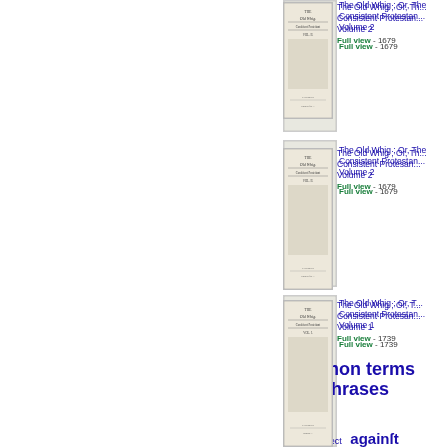[Figure (illustration): Thumbnail of book cover: The Old Whig; Or, The Consistent Protestant, Volume 2 (entry 1)]
The Old Whig ; Or, The Consistent Protestant, Volume 2
Full view - 1679
[Figure (illustration): Thumbnail of book cover: The Old Whig; Or, The Consistent Protestant, Volume 2 (entry 2)]
The Old Whig ; Or, The Consistent Protestant, Volume 2
Full view - 1679
[Figure (illustration): Thumbnail of book cover: The Old Whig; Or, The Consistent Protestant, Volume 1]
The Old Whig ; Or, The Consistent Protestant, Volume 1
Full view - 1739
Common terms and phrases
actions
affect
againſt
allow
amongſt
appear
attempt
authority
becauſe
believe
body
caſe
cauſe